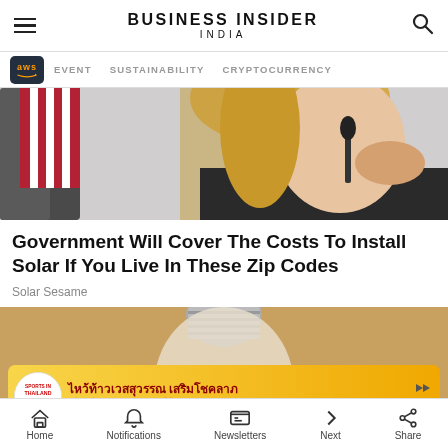BUSINESS INSIDER INDIA
[Figure (screenshot): Navigation bar with AWS badge, EVENT, SUSTAINABILITY, CRYPTOCURRENCY links]
[Figure (photo): Woman with blonde hair sitting at a desk with an American flag in the background, hands clasped near face, microphone in front]
Government Will Cover The Costs To Install Solar If You Live In These Zip Codes
Solar Sesame
[Figure (photo): Light bulb being held up against a warm brown background, with a Thai advertisement banner overlay promoting 'ไหว้ท้าวเวสสุวรรณ เสริมโชคลาภ พร้อมลุ้นรับของรางวัล ฟรี!']
Home  Notifications  Newsletters  Next  Share